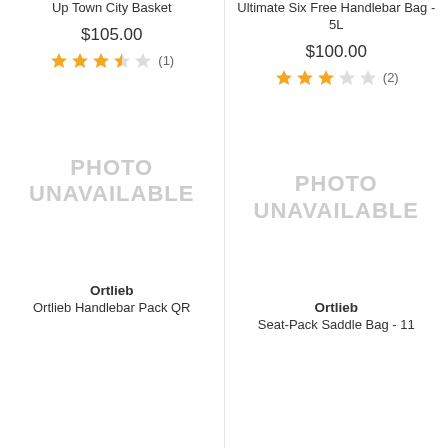Up Town City Basket
$105.00
★★★★☆ (1)
[Figure (photo): Photo unavailable placeholder for left product]
Ortlieb
Ortlieb Handlebar Pack QR
Ultimate Six Free Handlebar Bag - 5L
$100.00
★★☆☆☆ (2)
[Figure (photo): Photo unavailable placeholder for right product]
Ortlieb
Seat-Pack Saddle Bag - 11